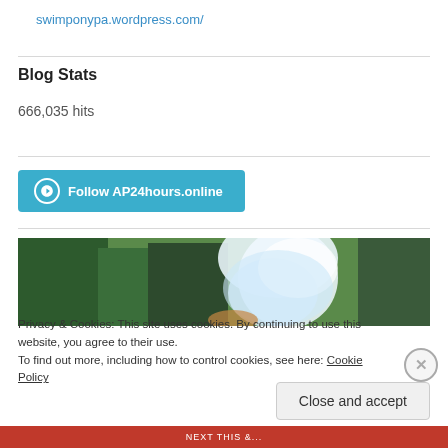swimponypa.wordpress.com/
Blog Stats
666,035 hits
[Figure (other): Blue button with WordPress logo and text: Follow AP24hours.online]
[Figure (photo): Partial photo showing a waterfall with green trees in background, and a hand visible]
Privacy & Cookies: This site uses cookies. By continuing to use this website, you agree to their use.
To find out more, including how to control cookies, see here: Cookie Policy
Close and accept